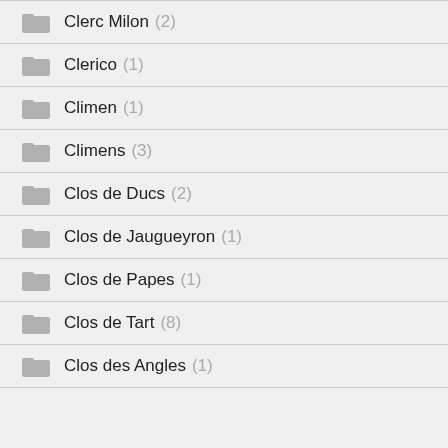Clerc Milon (2)
Clerico (1)
Climen (1)
Climens (3)
Clos de Ducs (2)
Clos de Jaugueyron (1)
Clos de Papes (1)
Clos de Tart (8)
Clos des Angles (1)